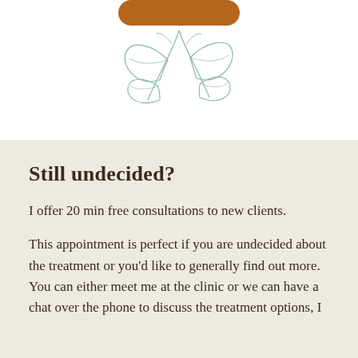[Figure (illustration): Decorative botanical line drawing of leaves/branches in teal/sage color with a partial brown rounded rectangle button visible at top center]
Still undecided?
I offer 20 min free consultations to new clients.
This appointment is perfect if you are undecided about the treatment or you'd like to generally find out more. You can either meet me at the clinic or we can have a chat over the phone to discuss the treatment options, I